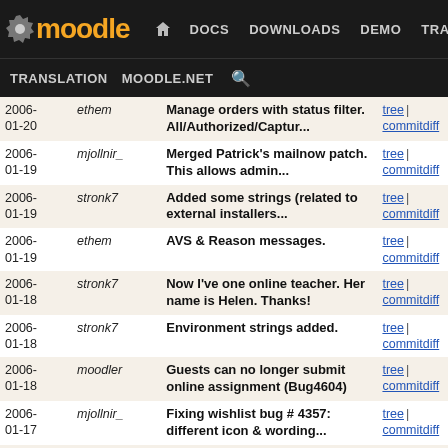moodle | DOCS | DOWNLOADS | DEMO | TRACKER | DEV | TRANSLATION | MOODLE.NET
| Date | Author | Message | Links |
| --- | --- | --- | --- |
| 2006-01-20 | ethem | Manage orders with status filter. All/Authorized/Captur... | tree | commitdiff |
| 2006-01-19 | mjollnir_ | Merged Patrick's mailnow patch. This allows admin... | tree | commitdiff |
| 2006-01-19 | stronk7 | Added some strings (related to external installers... | tree | commitdiff |
| 2006-01-19 | ethem | AVS & Reason messages. | tree | commitdiff |
| 2006-01-18 | stronk7 | Now I've one online teacher. Her name is Helen. Thanks! | tree | commitdiff |
| 2006-01-18 | stronk7 | Environment strings added. | tree | commitdiff |
| 2006-01-18 | moodler | Guests can no longer submit online assignment (Bug4604) | tree | commitdiff |
| 2006-01-17 | mjollnir_ | Fixing wishlist bug # 4357: different icon & wording... | tree | commitdiff |
| 2006-01-17 | mjollnir_ | Cache strings for my moodle, don't call get_string... | tree | commitdiff |
| 2006-01-16 | mjollnir_ | Contextual help for participants list 'with selected... | tree | commitdiff |
| 2006-01-16 | mjollnir_ | Introducing: managed posted forums. Optional ability... | tree | commitdiff |
| 2006- | martinlanghoff | Committing long files associated to | tree |